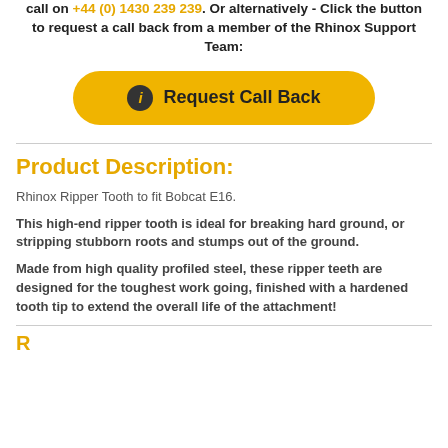call on +44 (0) 1430 239 239. Or alternatively - Click the button to request a call back from a member of the Rhinox Support Team:
[Figure (other): Yellow rounded button with info icon and text 'Request Call Back']
Product Description:
Rhinox Ripper Tooth to fit Bobcat E16.
This high-end ripper tooth is ideal for breaking hard ground, or stripping stubborn roots and stumps out of the ground.
Made from high quality profiled steel, these ripper teeth are designed for the toughest work going, finished with a hardened tooth tip to extend the overall life of the attachment!